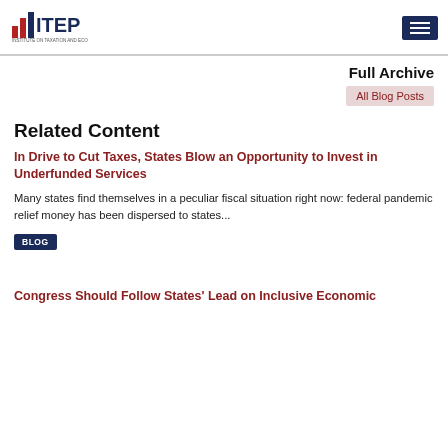[Figure (logo): ITEP - Institute on Taxation and Economic Policy logo with bar chart icon]
Full Archive
All Blog Posts
Related Content
In Drive to Cut Taxes, States Blow an Opportunity to Invest in Underfunded Services
Many states find themselves in a peculiar fiscal situation right now: federal pandemic relief money has been dispersed to states...
BLOG
Congress Should Follow States' Lead on Inclusive Economic